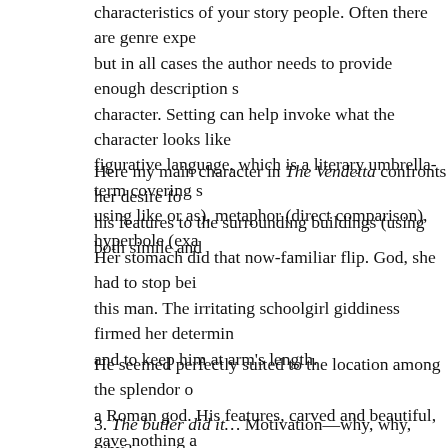characteristics of your story people. Often there are genre expectations, but in all cases the author needs to provide enough description so we can character. Setting can help invoke what the character looks like figurative language, which is a literary umbrella-term covering simile (comparison using like or as), metaphor (direct comparison), hyperbole (exaggeration
Here my main character in The Vendetta confronts her desire for him by comparing his features to the surrounding buildings (using both simile and
Her stomach did that now-familiar flip. God, she had to stop being so affected by this man. The irritating schoolgirl giddiness firmed her determination to focus and to keep him at arm's length.
He seemed perfectly suited to the location among the splendor of a Roman god. His features, carved and beautiful, gave nothing away. Despite herself, she desired him more than she'd desired any other man.
3. The butler did it… Motivation—why, why, why?